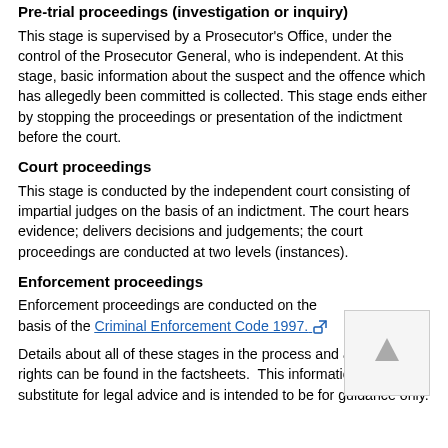Pre-trial proceedings (investigation or inquiry)
This stage is supervised by a Prosecutor's Office, under the control of the Prosecutor General, who is independent. At this stage, basic information about the suspect and the offence which has allegedly been committed is collected. This stage ends either by stopping the proceedings or presentation of the indictment before the court.
Court proceedings
This stage is conducted by the independent court consisting of impartial judges on the basis of an indictment. The court hears evidence; delivers decisions and judgements; the court proceedings are conducted at two levels (instances).
Enforcement proceedings
Enforcement proceedings are conducted on the basis of the Criminal Enforcement Code 1997.
Details about all of these stages in the process and about your rights can be found in the factsheets.  This information is not a substitute for legal advice and is intended to be for guidance only.